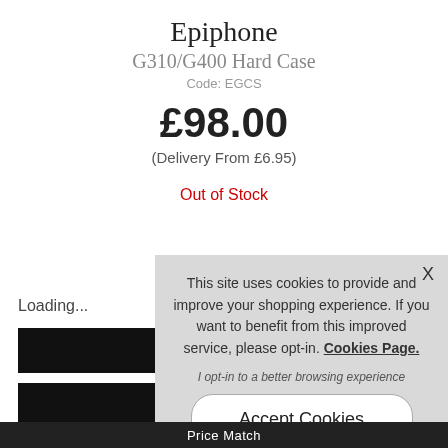Epiphone
G310/G400 Hard Case
Code: EGCS
£98.00
(Delivery From £6.95)
Out of Stock
Loading...
[Figure (other): Black placeholder bars representing loading content]
This site uses cookies to provide and improve your shopping experience. If you want to benefit from this improved service, please opt-in. Cookies Page.
I opt-in to a better browsing experience
Accept Cookies
Price Match